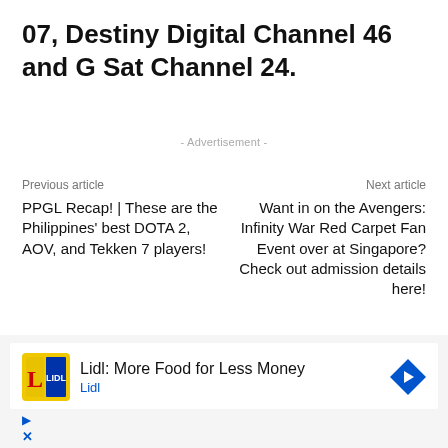07, Destiny Digital Channel 46 and G Sat Channel 24.
- Advertisement -
Previous article
PPGL Recap! | These are the Philippines’ best DOTA 2, AOV, and Tekken 7 players!
Next article
Want in on the Avengers: Infinity War Red Carpet Fan Event over at Singapore? Check out admission details here!
Francis N.
Lidl: More Food for Less Money
Lidl